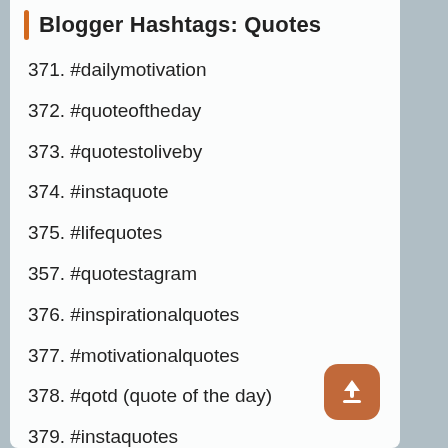Blogger Hashtags: Quotes
371. #dailymotivation
372. #quoteoftheday
373. #quotestoliveby
374. #instaquote
375. #lifequotes
357. #quotestagram
376. #inspirationalquotes
377. #motivationalquotes
378. #qotd (quote of the day)
379. #instaquotes